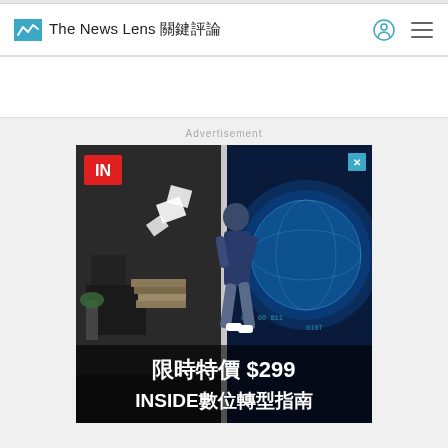The News Lens 關鍵評論
Advertisement
[Figure (photo): Advertisement banner for INSIDE digital transformation guide. Split image: left side shows a messy office with papers flying, right side shows a man in blue shirt stepping through a doorway into a bright blue digital world with globe and binary code. Text overlay in Chinese and English: 限時特價 $299 INSIDE數位轉型指南 with IN logo in red square top-left corner.]